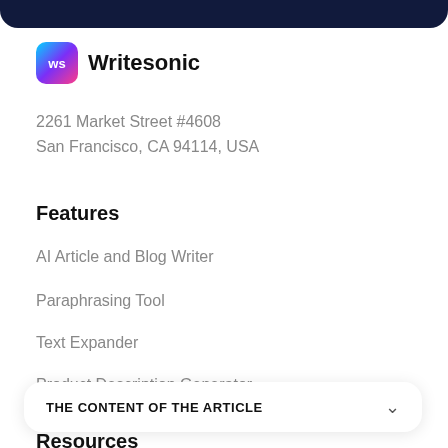[Figure (logo): Writesonic logo: gradient icon with 'ws' text and brand name 'Writesonic']
2261 Market Street #4608
San Francisco, CA 94114, USA
Features
AI Article and Blog Writer
Paraphrasing Tool
Text Expander
Product Description Generator
THE CONTENT OF THE ARTICLE
Resources